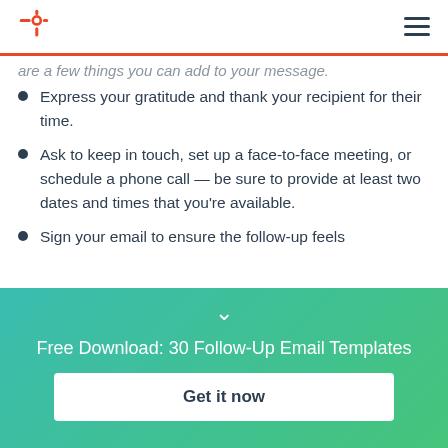HubSpot logo and navigation
are a few things you can add to your message.
Express your gratitude and thank your recipient for their time.
Ask to keep in touch, set up a face-to-face meeting, or schedule a phone call — be sure to provide at least two dates and times that you're available.
Sign your email to ensure the follow-up feels
Free Download: 30 Follow-Up Email Templates
Get it now